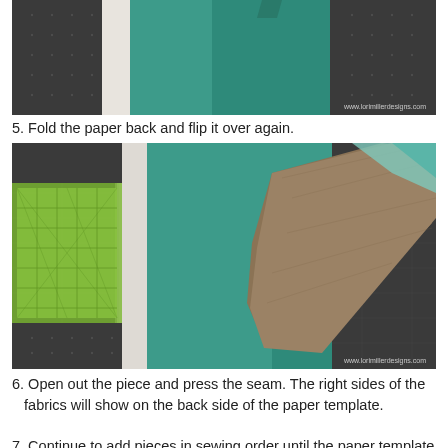[Figure (photo): Top photo showing teal fabric and white paper strip on a dark cutting mat with grid pattern.]
5. Fold the paper back and flip it over again.
[Figure (photo): Bottom photo showing teal fabric pieces and a brown/tan fabric strip on a dark cutting mat, with a green quilting ruler visible on the left.]
6. Open out the piece and press the seam. The right sides of the fabrics will show on the back side of the paper template.
7. Continue to add pieces in sewing order until the paper template is